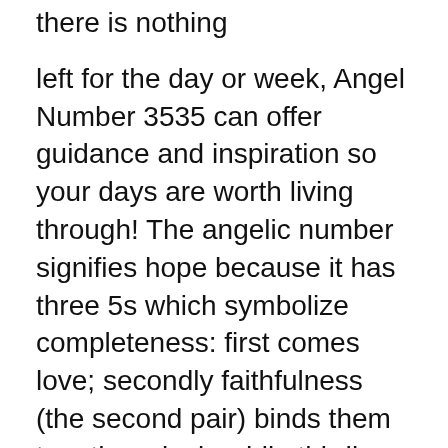there is nothing
left for the day or week, Angel Number 3535 can offer guidance and inspiration so your days are worth living through! The angelic number signifies hope because it has three 5s which symbolize completeness: first comes love; secondly faithfulness (the second pair) binds them together nicely while thirdly tolerance allows this bond grow strong over time without breakage – just like how two stone
Summary
Angel number 3535 will not let you down.
So stop thinking that seeing this angel